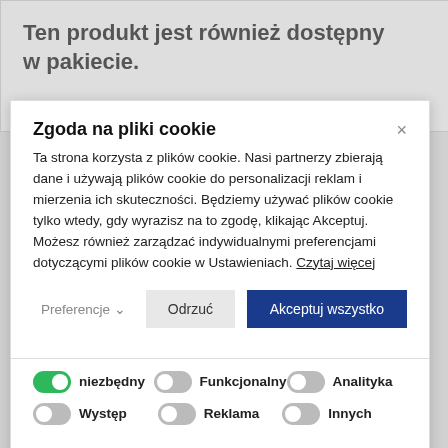Ten produkt jest również dostępny w pakiecie.
Zgoda na pliki cookie
Ta strona korzysta z plików cookie. Nasi partnerzy zbierają dane i używają plików cookie do personalizacji reklam i mierzenia ich skuteczności. Będziemy używać plików cookie tylko wtedy, gdy wyrazisz na to zgodę, klikając Akceptuj. Możesz również zarządzać indywidualnymi preferencjami dotyczącymi plików cookie w Ustawieniach. Czytaj więcej
Preferencje ∨ | Odrzuć | Akceptuj wszystko
niezbędny | Funkcjonalny | Analityka | Występ | Reklama | Innych
Zapisz moje preferencje